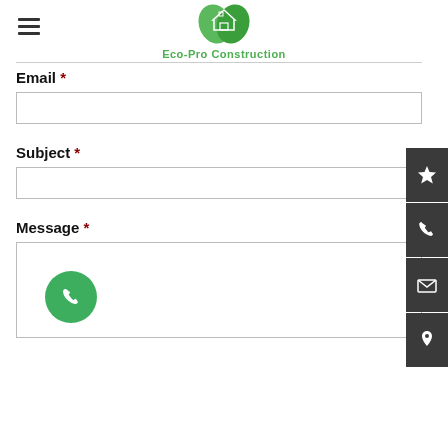[Figure (logo): Eco-Pro Construction logo with green leaves and house icon]
Email *
[Figure (screenshot): Empty email input field]
Subject *
[Figure (screenshot): Empty subject input field]
Message *
[Figure (screenshot): Empty message textarea with green phone button inside]
[Figure (infographic): Right sidebar with 4 dark grey buttons: star, phone, envelope, location pin icons]